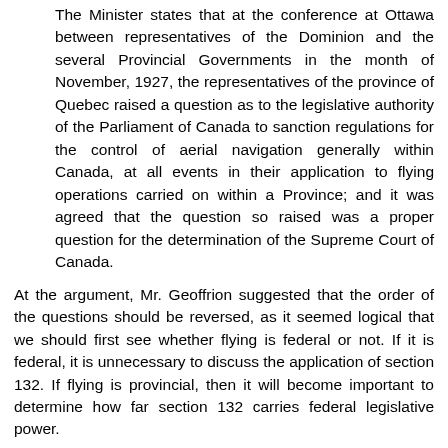The Minister states that at the conference at Ottawa between representatives of the Dominion and the several Provincial Governments in the month of November, 1927, the representatives of the province of Quebec raised a question as to the legislative authority of the Parliament of Canada to sanction regulations for the control of aerial navigation generally within Canada, at all events in their application to flying operations carried on within a Province; and it was agreed that the question so raised was a proper question for the determination of the Supreme Court of Canada.
At the argument, Mr. Geoffrion suggested that the order of the questions should be reversed, as it seemed logical that we should first see whether flying is federal or not. If it is federal, it is unnecessary to discuss the application of section 132. If flying is provincial, then it will become important to determine how far section 132 carries federal legislative power.